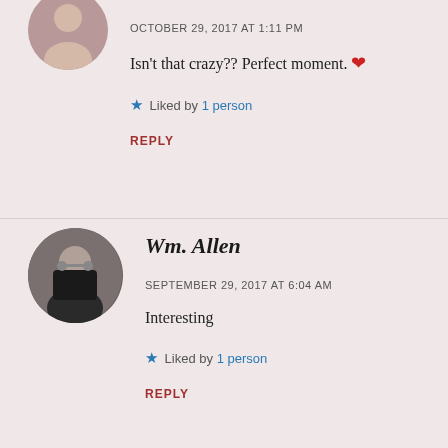[Figure (photo): Partial avatar photo at top left, cropped circle]
OCTOBER 29, 2017 AT 1:11 PM
Isn't that crazy?? Perfect moment. ❤
★ Liked by 1 person
REPLY
[Figure (photo): Avatar photo of Wm. Allen, a man in dark clothing]
Wm. Allen
SEPTEMBER 29, 2017 AT 6:04 AM
Interesting
★ Liked by 1 person
REPLY